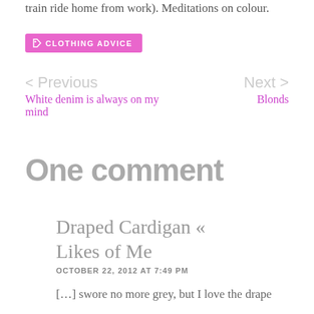train ride home from work). Meditations on colour.
CLOTHING ADVICE
< Previous
White denim is always on my mind
Next >
Blonds
One comment
Draped Cardigan « Likes of Me
OCTOBER 22, 2012 AT 7:49 PM
[…] swore no more grey, but I love the drape